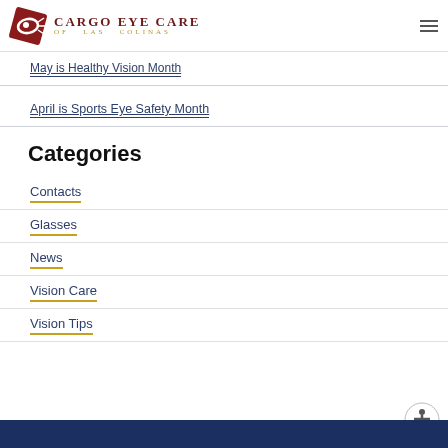[Figure (logo): Cargo Eye Care of Las Colinas logo with fish/eye icon and text]
May is Healthy Vision Month
April is Sports Eye Safety Month
Categories
Contacts
Glasses
News
Vision Care
Vision Tips